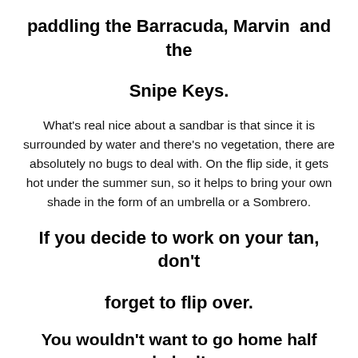paddling the Barracuda, Marvin  and the Snipe Keys.
What's real nice about a sandbar is that since it is surrounded by water and there's no vegetation, there are absolutely no bugs to deal with. On the flip side, it gets hot under the summer sun, so it helps to bring your own shade in the form of an umbrella or a Sombrero.
If you decide to work on your tan, don't forget to flip over.
You wouldn't want to go home half baked!